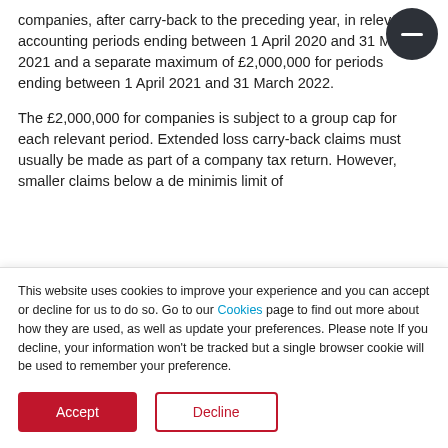companies, after carry-back to the preceding year, in relevant accounting periods ending between 1 April 2020 and 31 March 2021 and a separate maximum of £2,000,000 for periods ending between 1 April 2021 and 31 March 2022.
The £2,000,000 for companies is subject to a group cap for each relevant period. Extended loss carry-back claims must usually be made as part of a company tax return. However, smaller claims below a de minimis limit of £200,000 can be made without a tax return if...
This website uses cookies to improve your experience and you can accept or decline for us to do so. Go to our Cookies page to find out more about how they are used, as well as update your preferences. Please note If you decline, your information won't be tracked but a single browser cookie will be used to remember your preference.